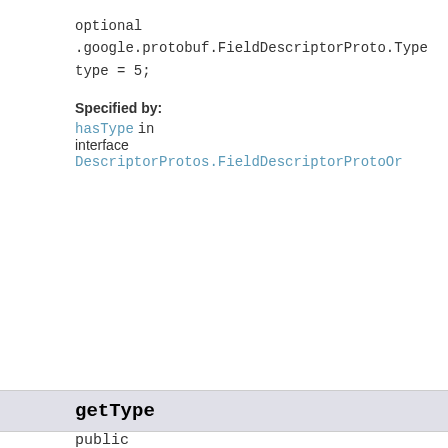optional
.google.protobuf.FieldDescriptorProto.Type
type = 5;
Specified by:
hasType in
interface DescriptorProtos.FieldDescriptorProtoOr...
getType
public DescriptorProtos.FieldDescriptorProto.Type...
If type_name is set, this need not be set.  If b
are set, this must be one of TYPE_ENUM, TYPE_MES...
optional
.google.protobuf.FieldDescriptorProto.Type
type = 5;
Specified by:
getType in
interface DescriptorProtos.FieldDescriptorProtoOr...